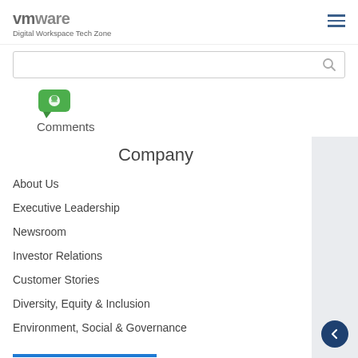vmware Digital Workspace Tech Zone
[Figure (screenshot): Search bar with magnifying glass icon]
[Figure (illustration): Green speech bubble comment icon with person silhouette]
Comments
Company
About Us
Executive Leadership
Newsroom
Investor Relations
Customer Stories
Diversity, Equity & Inclusion
Environment, Social & Governance